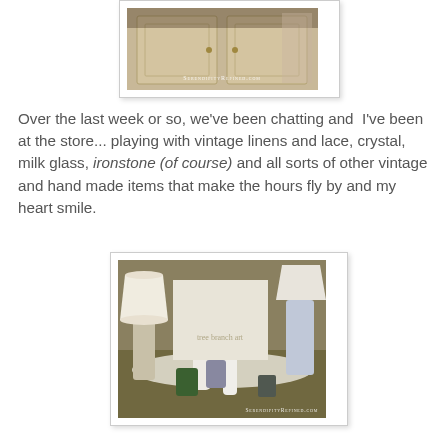[Figure (photo): Photo of a painted cabinet/armoire with watermark 'SerendipityRefined.com' at bottom]
Over the last week or so, we've been chatting and I've been at the store... playing with vintage linens and lace, crystal, milk glass, ironstone (of course) and all sorts of other vintage and hand made items that make the hours fly by and my heart smile.
[Figure (photo): Photo of vintage store display with milk glass, crystal lamp, candles, lace doily, and various white vintage items with watermark 'SerendipityRefined.com']